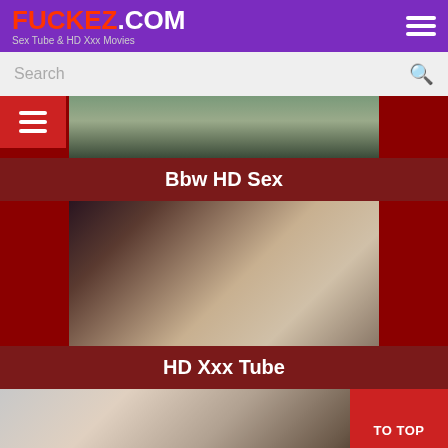FUCKEZ.COM - Sex Tube & HD Xxx Movies
Search
[Figure (screenshot): Video thumbnail showing couch scene - Bbw HD Sex category]
Bbw HD Sex
[Figure (screenshot): Video thumbnail showing HD Xxx Tube category]
HD Xxx Tube
[Figure (screenshot): Video thumbnail partially visible at bottom]
TO TOP